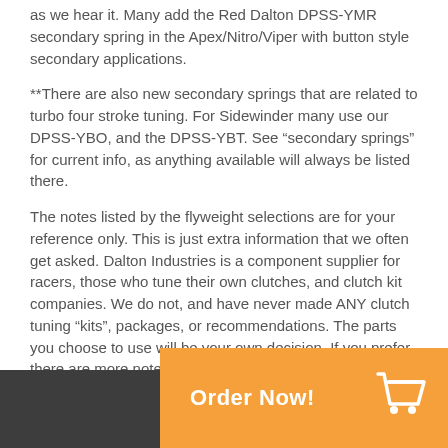as we hear it. Many add the Red Dalton DPSS-YMR secondary spring in the Apex/Nitro/Viper with button style secondary applications.
**There are also new secondary springs that are related to turbo four stroke tuning. For Sidewinder many use our DPSS-YBO, and the DPSS-YBT. See “secondary springs” for current info, as anything available will always be listed there.
The notes listed by the flyweight selections are for your reference only. This is just extra information that we often get asked. Dalton Industries is a component supplier for racers, those who tune their own clutches, and clutch kit companies. We do not, and have never made ANY clutch tuning “kits”, packages, or recommendations. The parts you choose to use will be your own decision. If you prefer, there are more notes and some clutch kit companies listed on the FAQ page of our site here.
[Figure (other): Orange 'Order Now!' button with shopping cart icon on right side, dark gray block on left side at bottom of page]